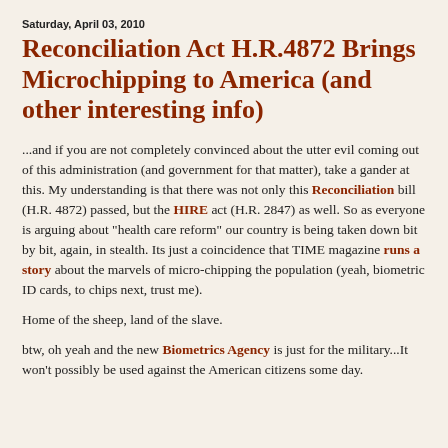Saturday, April 03, 2010
Reconciliation Act H.R.4872 Brings Microchipping to America (and other interesting info)
...and if you are not completely convinced about the utter evil coming out of this administration (and government for that matter), take a gander at this. My understanding is that there was not only this Reconciliation bill (H.R. 4872) passed, but the HIRE act (H.R. 2847) as well. So as everyone is arguing about "health care reform" our country is being taken down bit by bit, again, in stealth. Its just a coincidence that TIME magazine runs a story about the marvels of micro-chipping the population (yeah, biometric ID cards, to chips next, trust me).
Home of the sheep, land of the slave.
btw, oh yeah and the new Biometrics Agency is just for the military...It won't possibly be used against the American citizens some day.